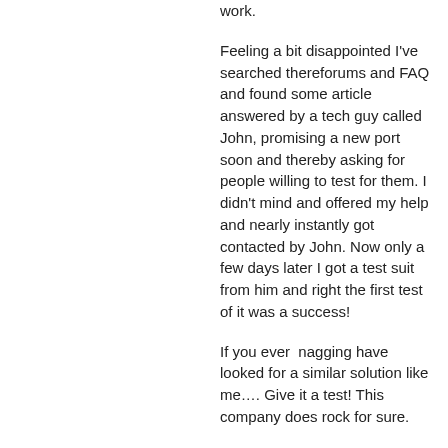work.
Feeling a bit disappointed I've searched thereforums and FAQ and found some article answered by a tech guy called John, promising a new port soon and thereby asking for people willing to test for them. I didn't mind and offered my help and nearly instantly got contacted by John. Now only a few days later I got a test suit from him and right the first test of it was a success!
If you ever  nagging have looked for a similar solution like me…. Give it a test! This company does rock for sure.
John! You have a